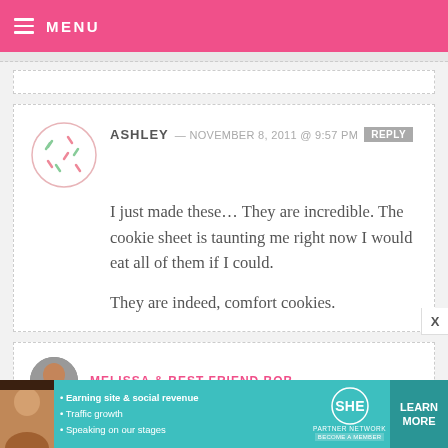≡ MENU
ASHLEY — NOVEMBER 8, 2011 @ 9:57 PM  REPLY

I just made these... They are incredible. The cookie sheet is taunting me right now I would eat all of them if I could.

They are indeed, comfort cookies.
[Figure (illustration): Partial comment card with avatar photo of a person, partially visible commenter name in pink]
[Figure (infographic): SHE Partner Network advertisement banner with photo of woman, bullet points about Earning site & social revenue, Traffic growth, Speaking on our stages, SHE logo, and LEARN MORE button]